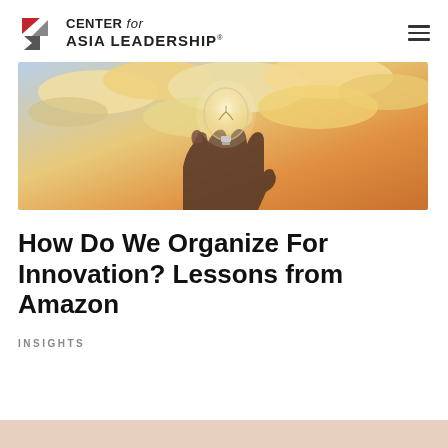CENTER for ASIA LEADERSHIP
[Figure (photo): A hand holding a glowing light bulb against a dramatic sunset sky with orange and golden clouds]
How Do We Organize For Innovation? Lessons from Amazon
INSIGHTS